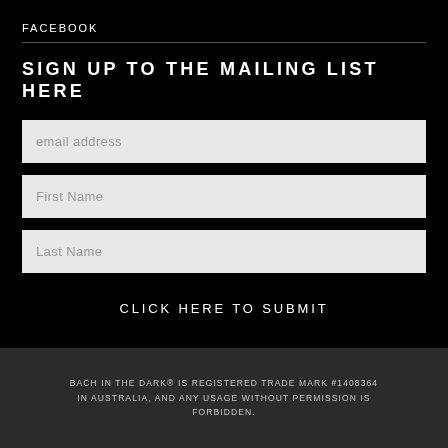FACEBOOK
SIGN UP TO THE MAILING LIST HERE
email address
First Name
Last Name
CLICK HERE TO SUBMIT
BACH IN THE DARK® IS REGISTERED TRADE MARK #1408364 IN AUSTRALIA, AND ANY USAGE WITHOUT PERMISSION IS FORBIDDEN.